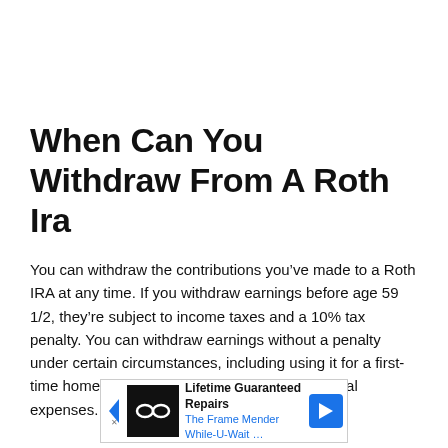When Can You Withdraw From A Roth Ira
You can withdraw the contributions you’ve made to a Roth IRA at any time. If you withdraw earnings before age 59 1/2, they’re subject to income taxes and a 10% tax penalty. You can withdraw earnings without a penalty under certain circumstances, including using it for a first-time home purchase and for qualified educational expenses.
[Figure (other): Advertisement banner for The Frame Mender While-U-Wait with text 'Lifetime Guaranteed Repairs' and navigation arrows]